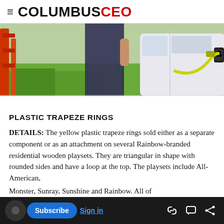≡ COLUMBUSCEO
[Figure (photo): Woman in striped outfit charging an electric vehicle outdoors, showing EV charging port with yellow cable]
PLASTIC TRAPEZE RINGS
DETAILS: The yellow plastic trapeze rings sold either as a separate component or as an attachment on several Rainbow-branded residential wooden playsets. They are triangular in shape with rounded sides and have a loop at the top. The playsets include All-American, Monster, Sunray, Sunshine and Rainbow. All of
Subscribe   Sign in